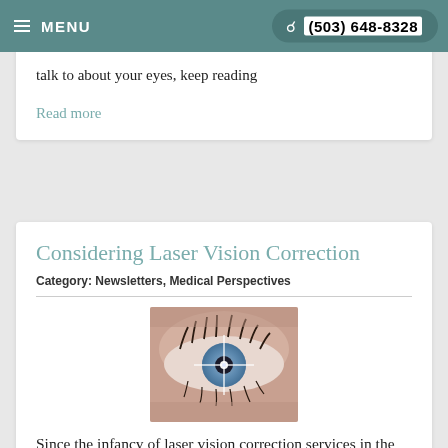MENU  (503) 648-8328
levels of education and are qualified to examine your eyes in different ways. If you
talk to about your eyes, keep reading
Read more
Considering Laser Vision Correction
Category: Newsletters, Medical Perspectives
[Figure (photo): Close-up photo of a human eye with a laser beam/light flare on the pupil, illustrating laser vision correction procedure]
Since the infancy of laser vision correction services in the 1980s, the field has made leaps and bounds in increasing the safety and efficacy of these procedures.